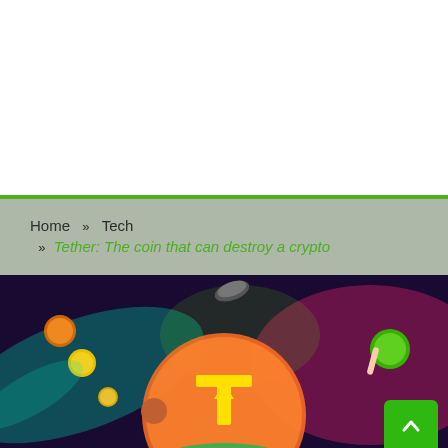Home » Tech » Tether: The coin that can destroy a crypto
[Figure (illustration): Colorful digital illustration of cryptocurrency coins floating around a large glowing Tether coin symbol on a dark purple background with neon lights in teal, pink, and green colors. A green scroll-to-top button is visible in the bottom right corner.]